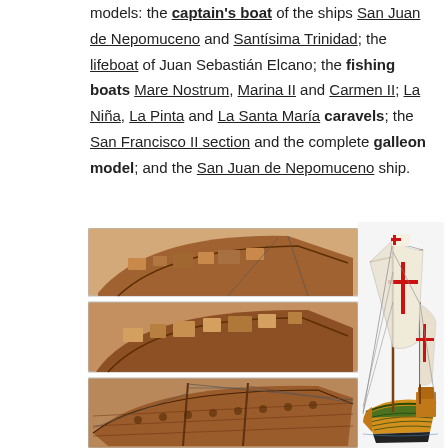models: the captain's boat of the ships San Juan de Nepomuceno and Santísima Trinidad; the lifeboat of Juan Sebastián Elcano; the fishing boats Mare Nostrum, Marina II and Carmen II; La Niña, La Pinta and La Santa María caravels; the San Francisco II section and the complete galleon model; and the San Juan de Nepomuceno ship.
[Figure (photo): Three stacked photos on left showing detailed wooden ship model cross-sections and deck views. One large photo on the right showing a complete model of La Niña caravel with full sails displaying red crosses.]